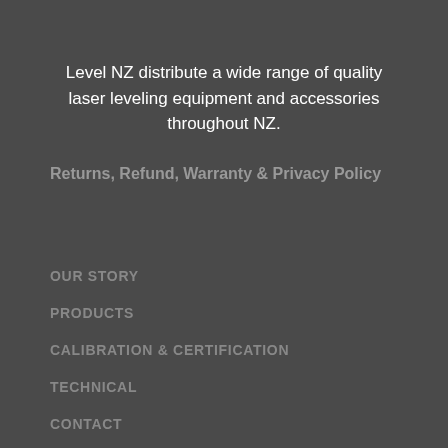Level NZ distribute a wide range of quality laser leveling equipment and accessories throughout NZ.
Returns, Refund, Warranty & Privacy Policy
OUR STORY
PRODUCTS
CALIBRATION & CERTIFICATION
TECHNICAL
CONTACT